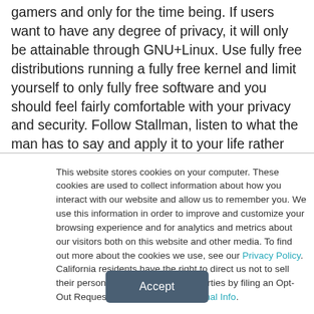A very fair article. Using Windows should be reserved to gamers and only for the time being. If users want to have any degree of privacy, it will only be attainable through GNU+Linux. Use fully free distributions running a fully free kernel and limit yourself to only fully free software and you should feel fairly comfortable with your privacy and security. Follow Stallman, listen to what the man has to say and apply it to your life rather
This website stores cookies on your computer. These cookies are used to collect information about how you interact with our website and allow us to remember you. We use this information in order to improve and customize your browsing experience and for analytics and metrics about our visitors both on this website and other media. To find out more about the cookies we use, see our Privacy Policy. California residents have the right to direct us not to sell their personal information to third parties by filing an Opt-Out Request: Do Not Sell My Personal Info.
Accept